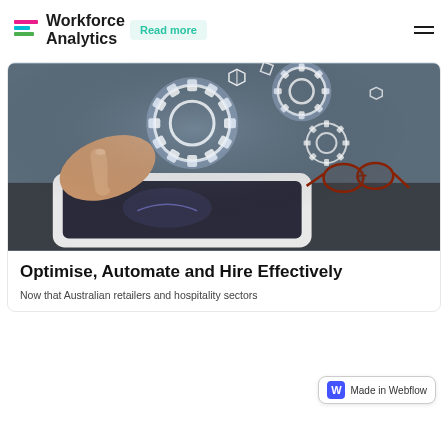Workforce Analytics
[Figure (photo): Person touching a tablet with glowing holographic gear/cog icons floating above it, glasses visible in background on a dark desk surface.]
Optimise, Automate and Hire Effectively
Now that Australian retailers and hospitality sectors...